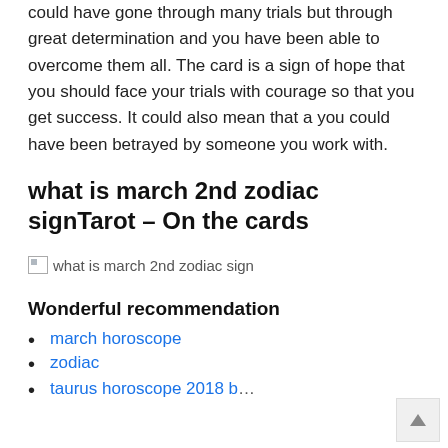could have gone through many trials but through great determination and you have been able to overcome them all. The card is a sign of hope that you should face your trials with courage so that you get success. It could also mean that a you could have been betrayed by someone you work with.
what is march 2nd zodiac signTarot – On the cards
[Figure (photo): Broken image placeholder with alt text 'what is march 2nd zodiac sign']
Wonderful recommendation
march horoscope
zodiac